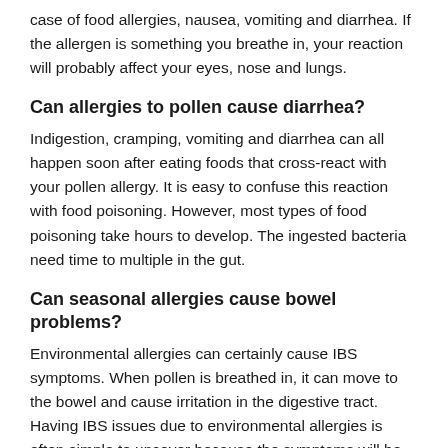case of food allergies, nausea, vomiting and diarrhea. If the allergen is something you breathe in, your reaction will probably affect your eyes, nose and lungs.
Can allergies to pollen cause diarrhea?
Indigestion, cramping, vomiting and diarrhea can all happen soon after eating foods that cross-react with your pollen allergy. It is easy to confuse this reaction with food poisoning. However, most types of food poisoning take hours to develop. The ingested bacteria need time to multiple in the gut.
Can seasonal allergies cause bowel problems?
Environmental allergies can certainly cause IBS symptoms. When pollen is breathed in, it can move to the bowel and cause irritation in the digestive tract. Having IBS issues due to environmental allergies is often simple to uncover because the symptoms will be worse during certain times of the year.